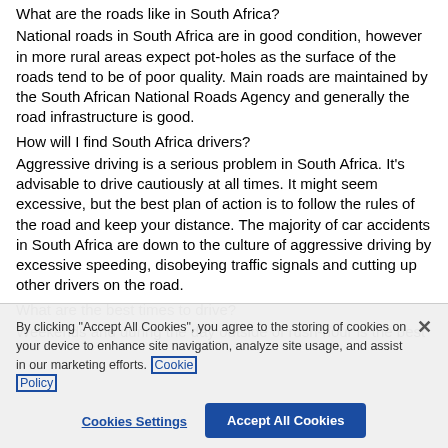What are the roads like in South Africa?
National roads in South Africa are in good condition, however in more rural areas expect pot-holes as the surface of the roads tend to be of poor quality. Main roads are maintained by the South African National Roads Agency and generally the road infrastructure is good.
How will I find South Africa drivers?
Aggressive driving is a serious problem in South Africa. It's advisable to drive cautiously at all times. It might seem excessive, but the best plan of action is to follow the rules of the road and keep your distance. The majority of car accidents in South Africa are down to the culture of aggressive driving by excessive speeding, disobeying traffic signals and cutting up other drivers on the road.
What are the best times to drive?
Weekends and during the day outside of rush-hour is the best
By clicking "Accept All Cookies", you agree to the storing of cookies on your device to enhance site navigation, analyze site usage, and assist in our marketing efforts. Cookie Policy
Cookies Settings
Accept All Cookies